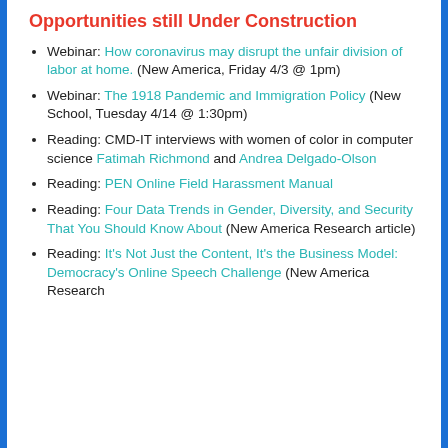Opportunities still Under Construction
Webinar: How coronavirus may disrupt the unfair division of labor at home. (New America, Friday 4/3 @ 1pm)
Webinar: The 1918 Pandemic and Immigration Policy (New School, Tuesday 4/14 @ 1:30pm)
Reading: CMD-IT interviews with women of color in computer science Fatimah Richmond and Andrea Delgado-Olson
Reading: PEN Online Field Harassment Manual
Reading: Four Data Trends in Gender, Diversity, and Security That You Should Know About (New America Research article)
Reading: It's Not Just the Content, It's the Business Model: Democracy's Online Speech Challenge (New America Research